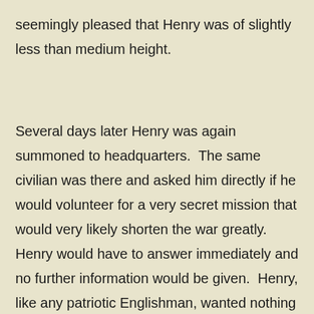seemingly pleased that Henry was of slightly less than medium height.
Several days later Henry was again summoned to headquarters.  The same civilian was there and asked him directly if he would volunteer for a very secret mission that would very likely shorten the war greatly.  Henry would have to answer immediately and no further information would be given.  Henry, like any patriotic Englishman, wanted nothing more than to have this war ended, and besides, what could be worse than returning to the trenches?  So he agreed to volunteer and was swiftly shipped back to England to be trained as a “tank” driver.